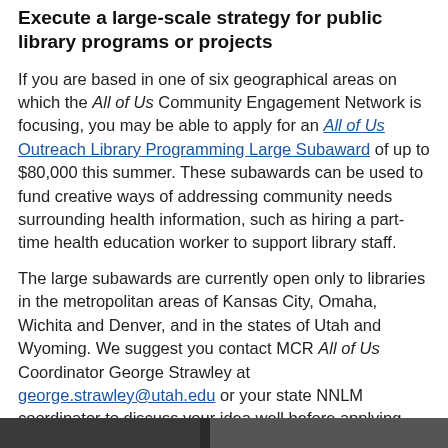Execute a large-scale strategy for public library programs or projects
If you are based in one of six geographical areas on which the All of Us Community Engagement Network is focusing, you may be able to apply for an All of Us Outreach Library Programming Large Subaward of up to $80,000 this summer. These subawards can be used to fund creative ways of addressing community needs surrounding health information, such as hiring a part-time health education worker to support library staff.
The large subawards are currently open only to libraries in the metropolitan areas of Kansas City, Omaha, Wichita and Denver, and in the states of Utah and Wyoming. We suggest you contact MCR All of Us Coordinator George Strawley at george.strawley@utah.edu or your state NNLM coordinator to discuss your idea well before applying. Among other things, the application should demonstrate that the project includes the community and is responsive to community needs.
[Figure (photo): Partial image strip visible at the bottom of the page, cut off.]